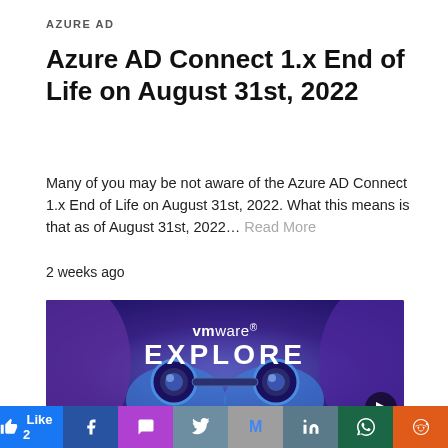AZURE AD
Azure AD Connect 1.x End of Life on August 31st, 2022
Many of you may be not aware of the Azure AD Connect 1.x End of Life on August 31st, 2022. What this means is that as of August 31st, 2022… Read More
2 weeks ago
[Figure (illustration): VMware Explore promotional banner with dark blue/purple gradient background, illustrated hands holding binoculars, 'vmware EXPLORE' text in white, and a play button triangle in bottom-right corner]
Like 2  (Facebook) (Messenger) (Twitter) (Gmail) (LinkedIn) (WhatsApp) (Reddit)